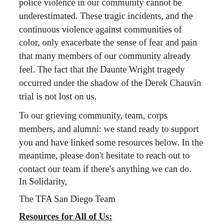police violence in our community cannot be underestimated. These tragic incidents, and the continuous violence against communities of color, only exacerbate the sense of fear and pain that many members of our community already feel. The fact that the Daunte Wright tragedy occurred under the shadow of the Derek Chauvin trial is not lost on us.
To our grieving community, team, corps members, and alumni: we stand ready to support you and have linked some resources below. In the meantime, please don’t hesitate to reach out to contact our team if there’s anything we can do.
In Solidarity,
The TFA San Diego Team
Resources for All of Us: